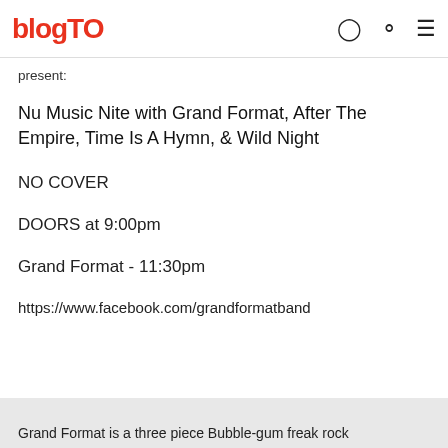blogTO
present:
Nu Music Nite with Grand Format, After The Empire, Time Is A Hymn, & Wild Night
NO COVER
DOORS at 9:00pm
Grand Format - 11:30pm
https://www.facebook.com/grandformatband
Grand Format is a three piece Bubble-gum freak rock